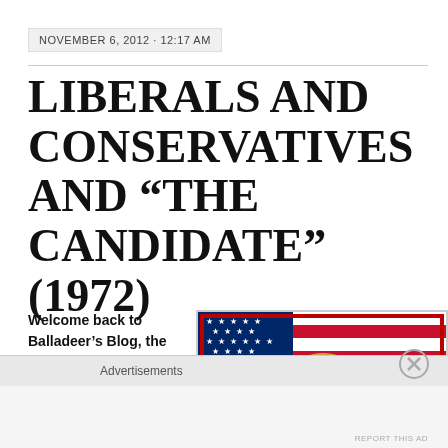NOVEMBER 6, 2012 · 12:17 AM
LIBERALS AND CONSERVATIVES AND “THE CANDIDATE” (1972)
Welcome back to Balladeer’s Blog, the
[Figure (photo): Movie poster or promotional image for 'The Candidate' (1972) showing a man in a suit blowing a bubble gum bubble in front of an American flag]
Advertisements
REPORT THIS AD